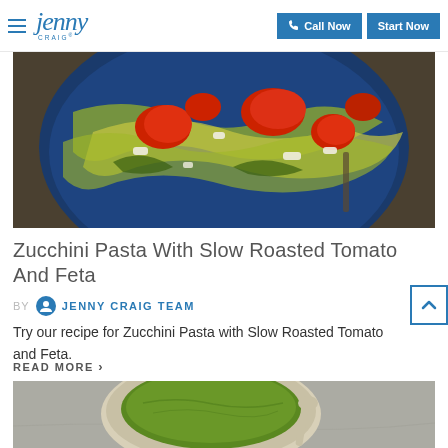Jenny Craig — Call Now | Start Now
[Figure (photo): Overhead view of a blue bowl containing zucchini pasta noodles topped with slow roasted tomatoes and feta cheese, with a fork visible on the side]
Zucchini Pasta With Slow Roasted Tomato And Feta
BY JENNY CRAIG TEAM
Try our recipe for Zucchini Pasta with Slow Roasted Tomato and Feta.
READ MORE >
[Figure (photo): Overhead view of a ceramic bowl containing bright green soup (likely pea or spinach soup) with a spoon resting beside it on a grey stone surface]